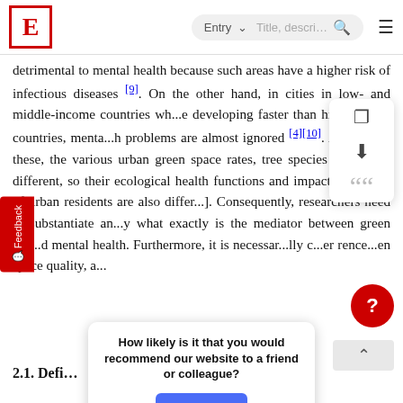E  Entry  [search bar]
detrimental to mental health because such areas have a higher risk of infectious diseases [9]. On the other hand, in cities in low- and middle-income countries where are developing faster than high-income countries, mental health problems are almost ignored [4][10]. Apart from these, the various urban green space rates, tree species mix ..., are different, so their ecological health functions and impacts the health of urban residents are also different [...]. Consequently, researchers need to substantiate and clarify what exactly is the mediator between green space and mental health. Furthermore, it is necessary to fully consider reference ... green space quality, a...
2.1. Defi...
How likely is it that you would recommend our website to a friend or colleague?
Reply